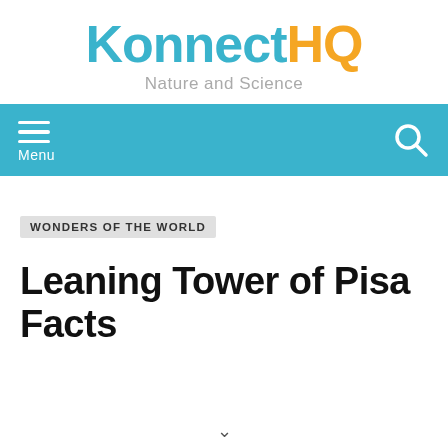KonnectHQ — Nature and Science
WONDERS OF THE WORLD
Leaning Tower of Pisa Facts